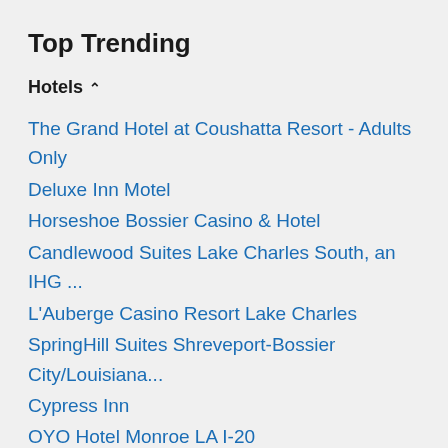Top Trending
Hotels ⇑
The Grand Hotel at Coushatta Resort - Adults Only
Deluxe Inn Motel
Horseshoe Bossier Casino & Hotel
Candlewood Suites Lake Charles South, an IHG ...
L'Auberge Casino Resort Lake Charles
SpringHill Suites Shreveport-Bossier City/Louisiana...
Cypress Inn
OYO Hotel Monroe LA I-20
Margaritaville Resort Casino
Seven Clans Hotel
Sam's Town Hotel & Casino, Shreveport
Cobblestone Inn & Suites - Vinton
Pelican Inn
Isle of Capri Casino Hotel Lake Charles